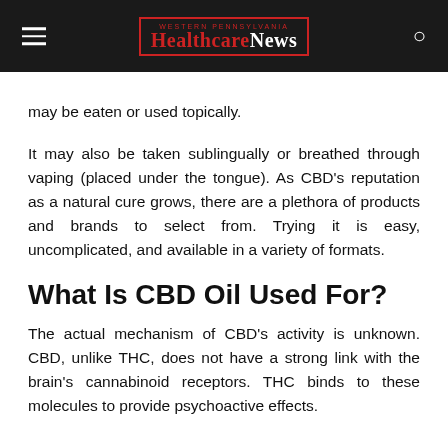WESTERN PENNSYLVANIA HEALTHCARE NEWS
may be eaten or used topically.
It may also be taken sublingually or breathed through vaping (placed under the tongue). As CBD's reputation as a natural cure grows, there are a plethora of products and brands to select from. Trying it is easy, uncomplicated, and available in a variety of formats.
What Is CBD Oil Used For?
The actual mechanism of CBD's activity is unknown. CBD, unlike THC, does not have a strong link with the brain's cannabinoid receptors. THC binds to these molecules to provide psychoactive effects.